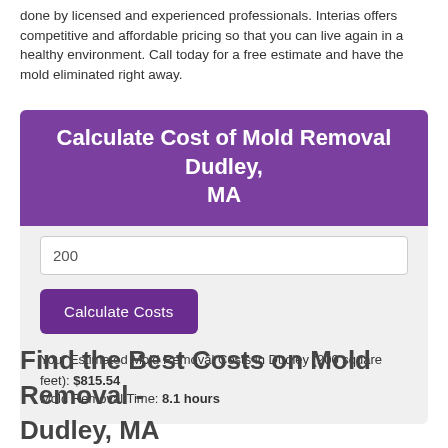done by licensed and experienced professionals. Interias offers competitive and affordable pricing so that you can live again in a healthy environment. Call today for a free estimate and have the mold eliminated right away.
Calculate Cost of Mold Removal Dudley, MA
200
Calculate Costs
Your Estimated Mold Removal Costs in Dudley (200 square feet): $815.54
Mold Removal Time: 8.1 hours
Find the Best Costs on Mold Removal - Dudley, MA